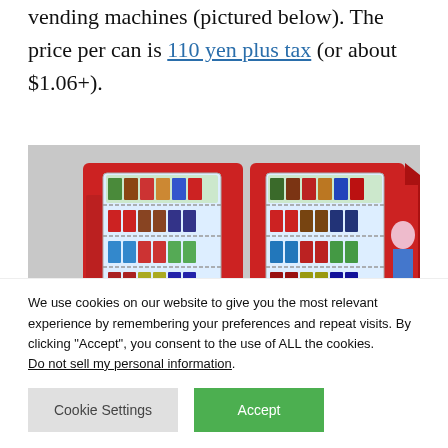vending machines (pictured below). The price per can is 110 yen plus tax (or about $1.06+).
[Figure (photo): Two red Japanese vending machines (AVM-600) side by side, showing shelves of canned and bottled drinks behind glass panels, on a gray background.]
We use cookies on our website to give you the most relevant experience by remembering your preferences and repeat visits. By clicking “Accept”, you consent to the use of ALL the cookies. Do not sell my personal information.